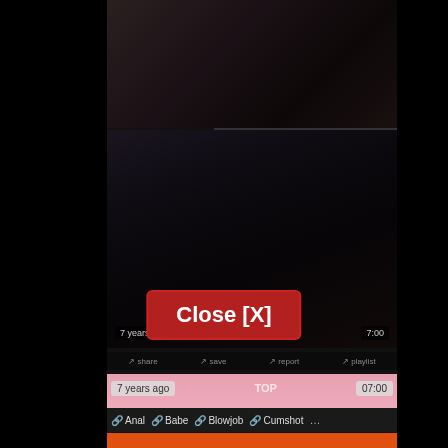[Figure (screenshot): Dark video thumbnail at top of center panel showing shadowy content]
[Figure (screenshot): Dark video thumbnail in middle of center panel with timestamp '7 years ago' and duration '7:00']
Close [X]
[Figure (screenshot): Pink/skin-toned video thumbnail at bottom with metadata: 7 years ago, TOP, 07:00]
7 years ago
TOP
07:00
Anal
Babe
Blowjob
Cumshot
...